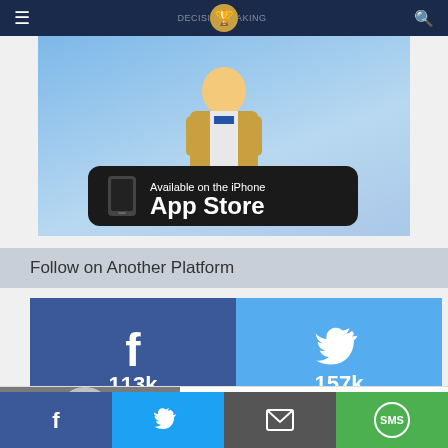Navigation bar with hamburger menu, site logo, and search icon
[Figure (screenshot): App Store advertisement banner with blue gradient background, cartoon figure, and 'Available on the iPhone App Store' badge]
Follow on Another Platform
[Figure (infographic): Social media follow buttons: Facebook 113k and Twitter 157k]
[Figure (screenshot): Ad overlay: sleeping elderly man with text 'What Causes Excessive Daytime Sleepiness? Some May Wish They...' from Narcolepsy | Search Ads | Sponsored]
Share bar with Facebook, Twitter, Email, and SMS buttons